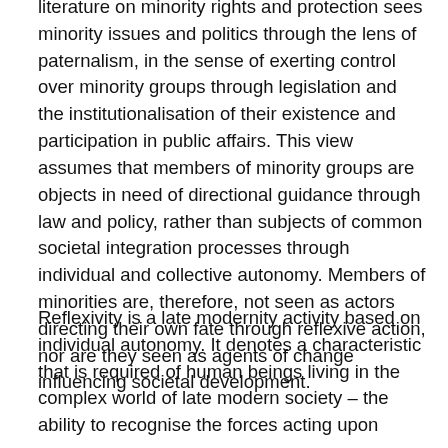literature on minority rights and protection sees minority issues and politics through the lens of paternalism, in the sense of exerting control over minority groups through legislation and the institutionalisation of their existence and participation in public affairs. This view assumes that members of minority groups are objects in need of directional guidance through law and policy, rather than subjects of common societal integration processes through individual and collective autonomy. Members of minorities are, therefore, not seen as actors directing their own fate through reflexive action, nor are they seen as agents of change influencing societal development.
Reflexivity is a late modernity activity based on individual autonomy. It denotes a characteristic that is required of human beings living in the complex world of late modern society – the ability to recognise the forces acting upon